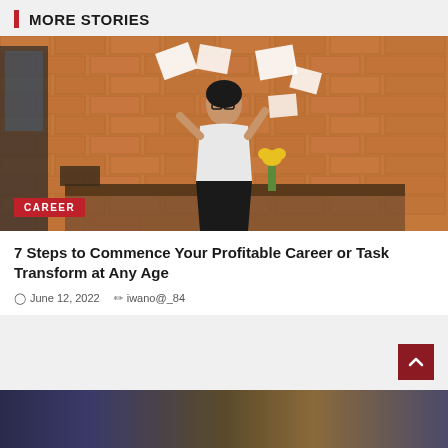MORE STORIES
[Figure (photo): Woman in white top and black skirt tossing papers in air, celebrating in a brick-walled office. CAREER badge overlaid at bottom left.]
7 Steps to Commence Your Profitable Career or Task Transform at Any Age
June 12, 2022   iwano@_84
[Figure (photo): Crowd at a sports event with a batter in yellow helmet visible at right edge.]